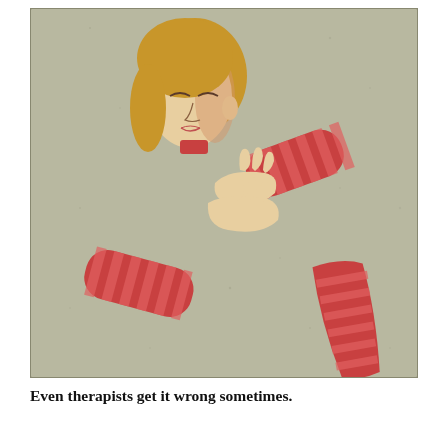[Figure (illustration): An illustration of a disassembled female figure with blonde hair and closed eyes, wearing a red and pink striped garment. The body parts — head, arms with striped sleeves, and legs — appear floating and disconnected against a muted gray-green background.]
Even therapists get it wrong sometimes.